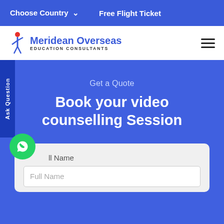Choose Country  ∨     Free Flight Ticket
[Figure (logo): Meridean Overseas Education Consultants logo with a figure icon and blue text]
Ask Question
Get a Quote
Book your video counselling Session
Full Name
Full Name